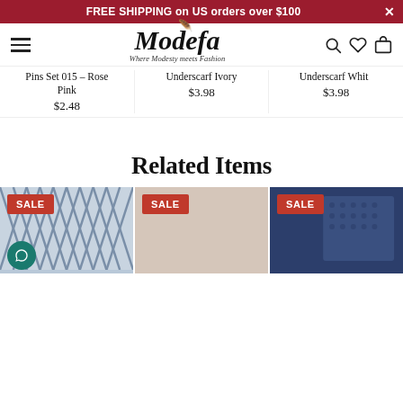FREE SHIPPING on US orders over $100
[Figure (logo): Modefa logo with tagline 'Where Modesty meets Fashion' and navigation icons]
Pins Set 015 - Rose Pink
$2.48
Underscarf Ivory
$3.98
Underscarf White
$3.98
Related Items
[Figure (photo): Sale badge with zebra-patterned fabric product image]
[Figure (photo): Sale badge with beige/nude underscarf product image]
[Figure (photo): Sale badge with navy blue patterned fabric product image]